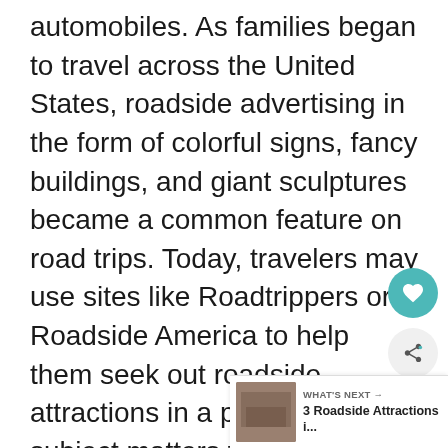automobiles. As families began to travel across the United States, roadside advertising in the form of colorful signs, fancy buildings, and giant sculptures became a common feature on road trips. Today, travelers may use sites like Roadtrippers or Roadside America to help them seek out roadside attractions in a plethora of subject matters from the world's largest paint can to the biggest ball of twine to the World's Largest free-standing jail cell. The subjects are vast and varied. It would be impossible for me to choose ten favorite roadside attractions from the dozens I've sought out